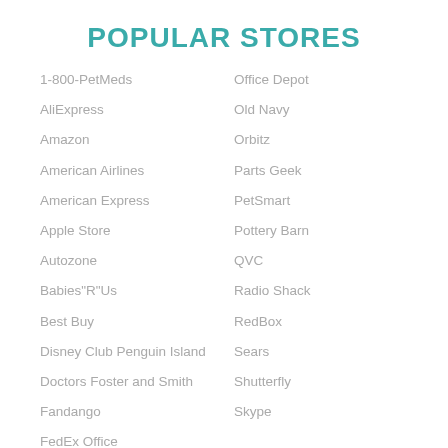POPULAR STORES
1-800-PetMeds
AliExpress
Amazon
American Airlines
American Express
Apple Store
Autozone
Babies"R"Us
Best Buy
Disney Club Penguin Island
Doctors Foster and Smith
Fandango
FedEx Office
Forever21
GolfNow
Office Depot
Old Navy
Orbitz
Parts Geek
PetSmart
Pottery Barn
QVC
Radio Shack
RedBox
Sears
Shutterfly
Skype